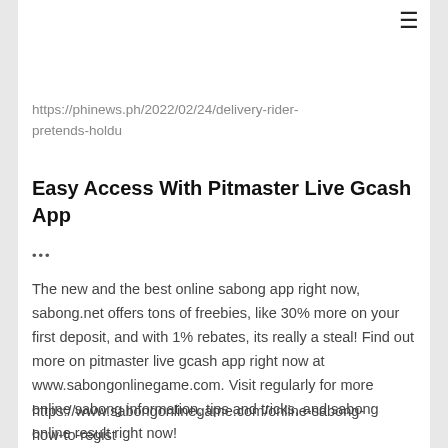https://phinews.ph/2022/02/24/delivery-rider-pretends-holdu
Easy Access With Pitmaster Live Gcash App
•••
The new and the best online sabong app right now, sabong.net offers tons of freebies, like 30% more on your first deposit, and with 1% rebates, its really a steal! Find out more on pitmaster live gcash app right now at www.sabongonlinegame.com. Visit regularly for more online sabong information, tips and tricks, and sabong online result right now!
https://www.sabongonlinegame.com/online-sabong-how-to-regist